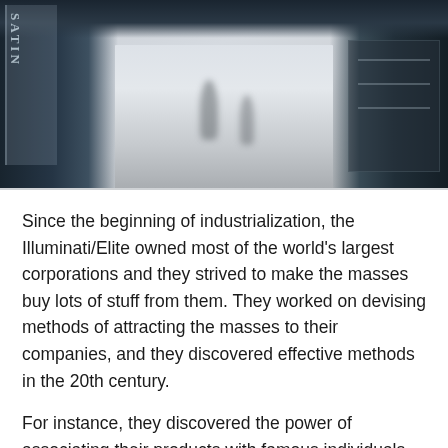[Figure (photo): Overhead/wide-angle photograph of a shopping mall corridor with stores on both sides, showing blurred shoppers walking on a reflective floor]
Since the beginning of industrialization, the Illuminati/Elite owned most of the world's largest corporations and they strived to make the masses buy lots of stuff from them. They worked on devising methods of attracting the masses to their companies, and they discovered effective methods in the 20th century.
For instance, they discovered the power of associating their products with famous individuals. They used celebrities to advertise their products and people started buying products not because they needed them, but because they wanted to be seen with them.
The elite then popularized the idea that certain products